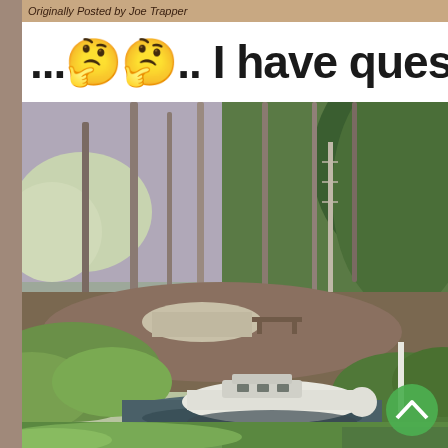Originally Posted by Joe Trapper
... 🤔🤔.. I have questio
[Figure (photo): A sailboat moored in a very narrow, shallow stream or canal surrounded by dense forest trees with spring foliage. The boat appears too large for the small waterway, which is the humorous subject of the post. A green circular scroll-up button is visible in the lower right corner of the image.]